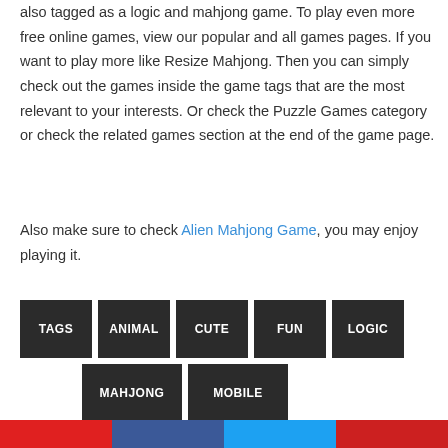also tagged as a logic and mahjong game. To play even more free online games, view our popular and all games pages. If you want to play more like Resize Mahjong. Then you can simply check out the games inside the game tags that are the most relevant to your interests. Or check the Puzzle Games category or check the related games section at the end of the game page.
Also make sure to check Alien Mahjong Game, you may enjoy playing it.
TAGS  ANIMAL  CUTE  FUN  LOGIC  MAHJONG  MOBILE
[Figure (other): Social media share buttons row at bottom: red, dark blue, light blue, red]